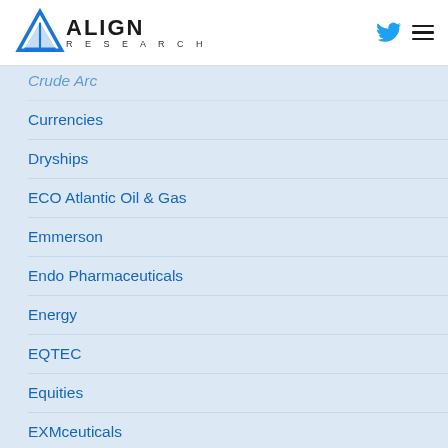ALIGN RESEARCH
Crude Arc
Currencies
Dryships
ECO Atlantic Oil & Gas
Emmerson
Endo Pharmaceuticals
Energy
EQTEC
Equities
EXMceuticals
Finnaust Mining
Forex
Fresnillo